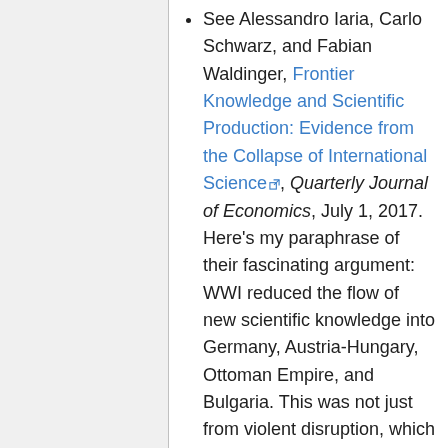See Alessandro Iaria, Carlo Schwarz, and Fabian Waldinger, Frontier Knowledge and Scientific Production: Evidence from the Collapse of International Science, Quarterly Journal of Economics, July 1, 2017. Here's my paraphrase of their fascinating argument: WWI reduced the flow of new scientific knowledge into Germany, Austria-Hungary, Ottoman Empire, and Bulgaria. This was not just from violent disruption, which also affected Allied countries, but also from a deliberate scientific boycott of the Central Powers by the Allies. Compared to pre-War years, researchers in the Central Powers had less access to